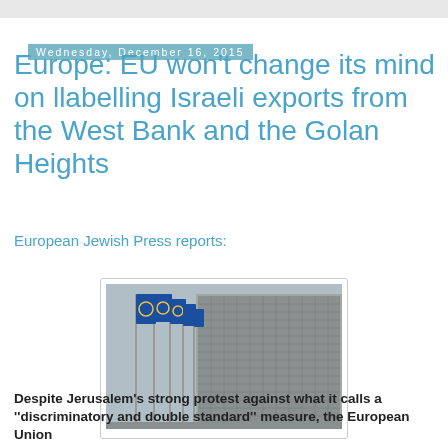Wednesday, December 16, 2015
Europe: EU won’t change its mind on llabelling Israeli exports from the West Bank and the Golan Heights
European Jewish Press reports:
[Figure (photo): EU building (Berlaymont) with rows of European Union flags on flagpoles in front of the facade]
Despite Jerusalem’s strong protest against what it calls a ''discriminatory and double standard'' measure, the European Union